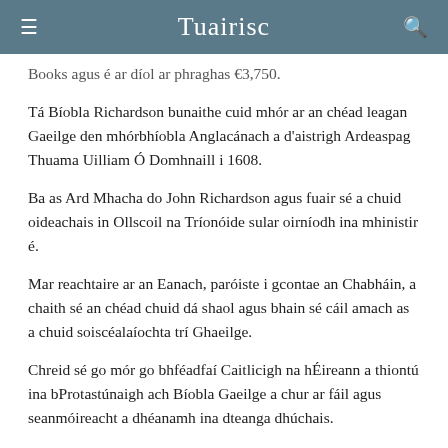Tuairisc
Books agus é ar díol ar phraghas €3,750.
Tá Bíobla Richardson bunaithe cuid mhór ar an chéad leagan Gaeilge den mhórbhíobla Anglacánach a d'aistrigh Ardeaspag Thuama Uilliam Ó Domhnaill i 1608.
Ba as Ard Mhacha do John Richardson agus fuair sé a chuid oideachais in Ollscoil na Tríonóide sular oirníodh ina mhinistir é.
Mar reachtaire ar an Eanach, paróiste i gcontae an Chabháin, a chaith sé an chéad chuid dá shaol agus bhain sé cáil amach as a chuid soiscéalaíochta trí Ghaeilge.
Chreid sé go mór go bhféadfaí Caitlicigh na hÉireann a thiontú ina bProtastúnaigh ach Bíobla Gaeilge a chur ar fáil agus seanmóireacht a dhéanamh ina dteanga dhúchais.